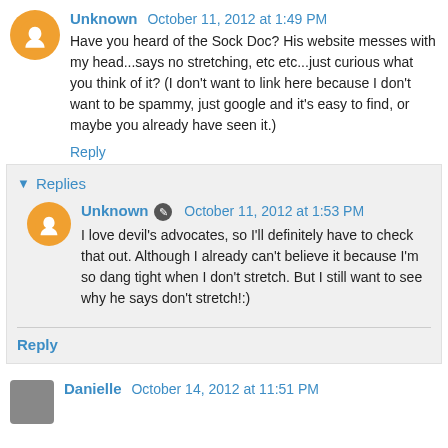Unknown  October 11, 2012 at 1:49 PM
Have you heard of the Sock Doc? His website messes with my head...says no stretching, etc etc...just curious what you think of it? (I don't want to link here because I don't want to be spammy, just google and it's easy to find, or maybe you already have seen it.)
Reply
Replies
Unknown  October 11, 2012 at 1:53 PM
I love devil's advocates, so I'll definitely have to check that out. Although I already can't believe it because I'm so dang tight when I don't stretch. But I still want to see why he says don't stretch!:)
Reply
Danielle  October 14, 2012 at 11:51 PM